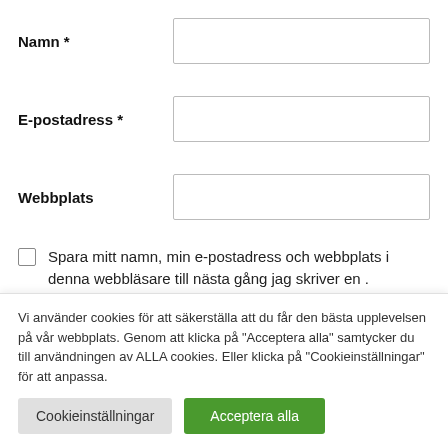Namn *
E-postadress *
Webbplats
Spara mitt namn, min e-postadress och webbplats i denna webbläsare till nästa gång jag skriver en .
Vi använder cookies för att säkerställa att du får den bästa upplevelsen på vår webbplats. Genom att klicka på "Acceptera alla" samtycker du till användningen av ALLA cookies. Eller klicka på "Cookieinställningar" för att anpassa.
Cookieinställningar
Acceptera alla